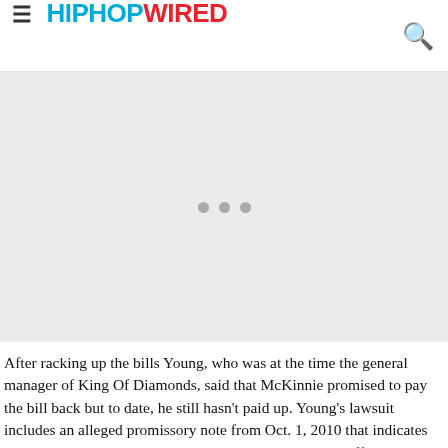HIPHOPWIRED
[Figure (other): Advertisement placeholder area with three gray loading dots in the center on a light gray background]
After racking up the bills Young, who was at the time the general manager of King Of Diamonds, said that McKinnie promised to pay the bill back but to date, he still hasn't paid up. Young's lawsuit includes an alleged promissory note from Oct. 1, 2010 that indicates that Young loaned McKinnie the money in cash in the different venues.